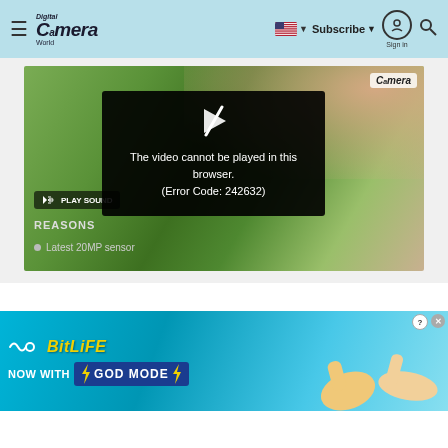[Figure (screenshot): Digital Camera World website navigation bar with hamburger menu, logo, flag/language selector, Subscribe button, sign in icon, and search icon on a light blue background]
[Figure (screenshot): Embedded video player showing a hand holding a camera with a green bokeh background. Video playback error overlay reads: The video cannot be played in this browser. (Error Code: 242632). Play Sound button visible bottom left. REASONS text and Latest 20MP sensor bullet point partially visible.]
[Figure (advertisement): BitLife mobile game advertisement banner with blue gradient background showing 'BitLife - NOW WITH GOD MODE' text with lightning bolt graphics and illustrated hands pointing]